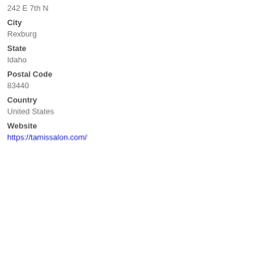242 E 7th N
City
Rexburg
State
Idaho
Postal Code
83440
Country
United States
Website
https://tamissalon.com/